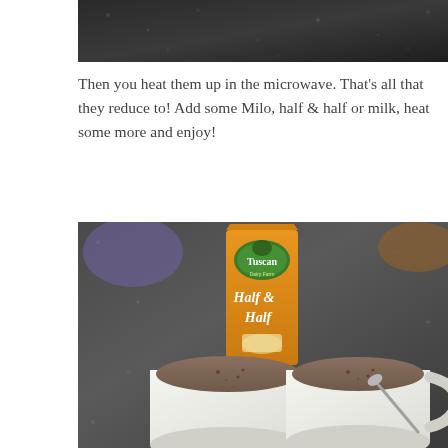[Figure (photo): Top portion of a photo showing a dark granite countertop surface, cropped.]
Then you heat them up in the microwave. That’s all that they reduce to! Add some Milo, half & half or milk, heat some more and enjoy!
[Figure (photo): Photo showing two white mugs filled with hot cocoa drink on a dark granite countertop, with an orange carton of Tuscan Half & Half creamer standing between them. A spoon rests in the right mug.]